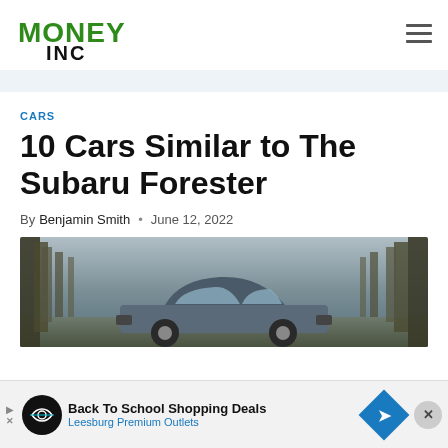MONEY INC
CARS
10 Cars Similar to The Subaru Forester
By Benjamin Smith • June 12, 2022
[Figure (photo): Photo of a Subaru Forester parked in a wooded area with bare trees in the background]
Back To School Shopping Deals Leesburg Premium Outlets